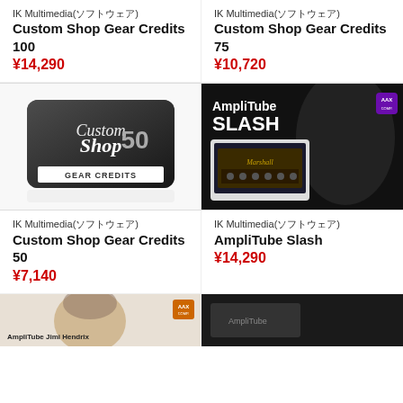IK Multimedia(ソフトウェア)
Custom Shop Gear Credits 100
¥14,290
IK Multimedia(ソフトウェア)
Custom Shop Gear Credits 75
¥10,720
[Figure (photo): Custom Shop Gear Credits 50 product image - card with script logo and '50 GEAR CREDITS' text]
[Figure (photo): AmpliTube Slash product image - shows Slash holding guitar with Marshall amp simulation on laptop, AAX logo]
IK Multimedia(ソフトウェア)
Custom Shop Gear Credits 50
¥7,140
IK Multimedia(ソフトウェア)
AmpliTube Slash
¥14,290
[Figure (photo): AmpliTube Jimi Hendrix product image - partial view of Hendrix with AAX logo]
[Figure (photo): Another IK Multimedia product - dark background image, partially visible]